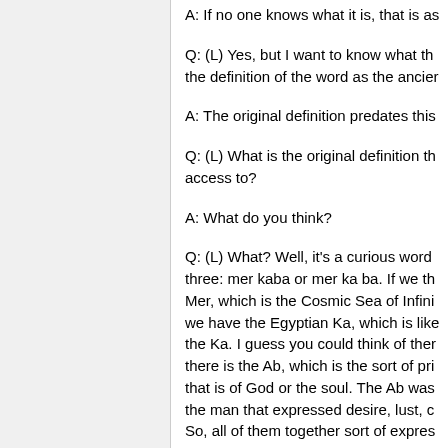A: If no one knows what it is, that is as
Q: (L) Yes, but I want to know what the definition of the word as the ancier
A: The original definition predates this
Q: (L) What is the original definition th access to?
A: What do you think?
Q: (L) What? Well, it's a curious word three: mer kaba or mer ka ba. If we th Mer, which is the Cosmic Sea of Infini we have the Egyptian Ka, which is like the Ka. I guess you could think of ther there is the Ab, which is the sort of pri that is of God or the soul. The Ab was the man that expressed desire, lust, c So, all of them together sort of expres